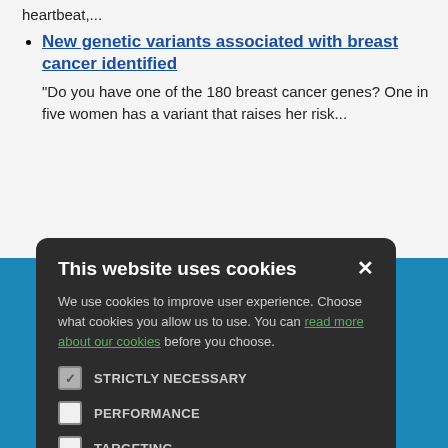heartbeat,...
New genetic variants associated with breast cancer identified — "Do you have one of the 180 breast cancer genes? One in five women has a variant that raises her risk..."
This website uses cookies
We use cookies to improve user experience. Choose what cookies you allow us to use. You can read more about our cookies before you choose.
STRICTLY NECESSARY
PERFORMANCE
TARGETING
FUNCTIONALITY
ACCEPT ALL   DECLINE ALL
Data Choices